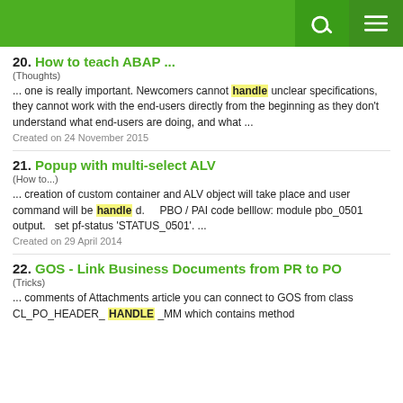20. How to teach ABAP ...
(Thoughts)
... one is really important. Newcomers cannot handle unclear specifications, they cannot work with the end-users directly from the beginning as they don't understand what end-users are doing, and what ...
Created on 24 November 2015
21. Popup with multi-select ALV
(How to...)
... creation of custom container and ALV object will take place and user command will be handle d.     PBO / PAI code belllow: module pbo_0501 output.   set pf-status 'STATUS_0501'. ...
Created on 29 April 2014
22. GOS - Link Business Documents from PR to PO
(Tricks)
... comments of Attachments article you can connect to GOS from class CL_PO_HEADER_ HANDLE _MM which contains method ATT_GOS_MANAGER...